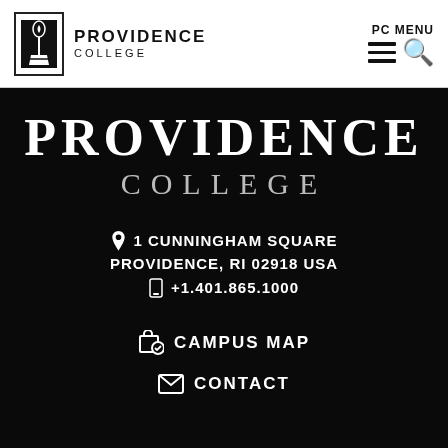Providence College | PC MENU
PROVIDENCE COLLEGE
1 CUNNINGHAM SQUARE PROVIDENCE, RI 02918 USA +1.401.865.1000
CAMPUS MAP
CONTACT